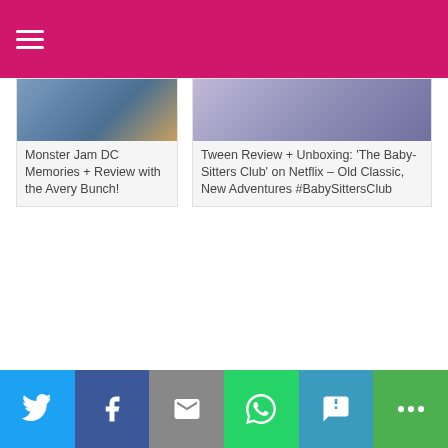≡ (hamburger menu)
[Figure (screenshot): Card with image: Monster Jam DC Memories + Review with the Avery Bunch!]
[Figure (screenshot): Card with image: Tween Review + Unboxing: 'The Baby-Sitters Club' on Netflix – Old Classic, New Adventures #BabySittersClub]
⚡ by shareaholic
1 Comment
[Figure (infographic): Social share icons: Facebook, Twitter, Pinterest, Google+]
[Figure (infographic): Bottom share bar with Twitter, Facebook, Email, WhatsApp, SMS, More buttons]